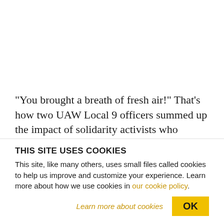“You brought a breath of fresh air!” That’s how two UAW Local 9 officers summed up the impact of solidarity activists who converged on South Bend, IN on January 5, 2017 to show support for
THIS SITE USES COOKIES
This site, like many others, uses small files called cookies to help us improve and customize your experience. Learn more about how we use cookies in our cookie policy.
Learn more about cookies